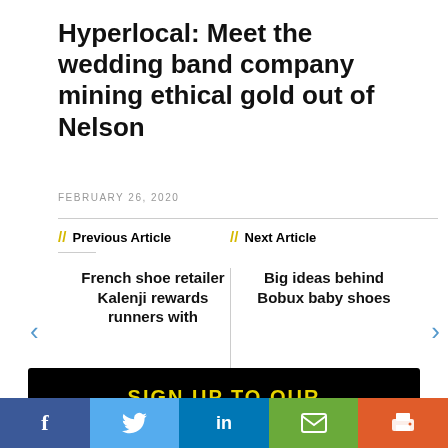Hyperlocal: Meet the wedding band company mining ethical gold out of Nelson
FEBRUARY 26, 2020
// Previous Article
French shoe retailer Kalenji rewards runners with
// Next Article
Big ideas behind Bobux baby shoes
[Figure (infographic): Black banner with yellow bold text: SIGN UP TO OUR NEWSLETTER]
Social share bar: Facebook, Twitter, LinkedIn, Email, Print